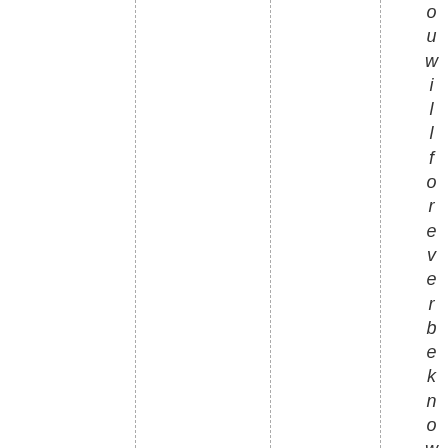o u w i l l f o r e v e r b e k n o w n i n s o u